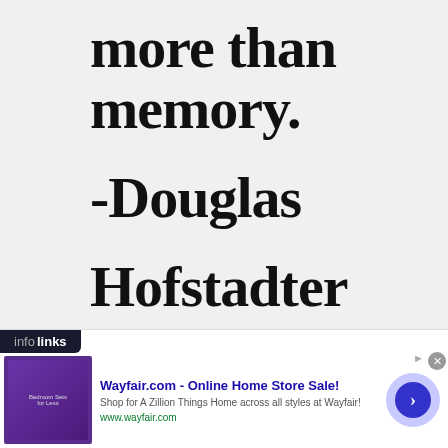more than memory. -Douglas Hofstadter
[Figure (other): Infolinks advertisement banner for Wayfair.com - Online Home Store Sale! with thumbnail image, text, and arrow button]